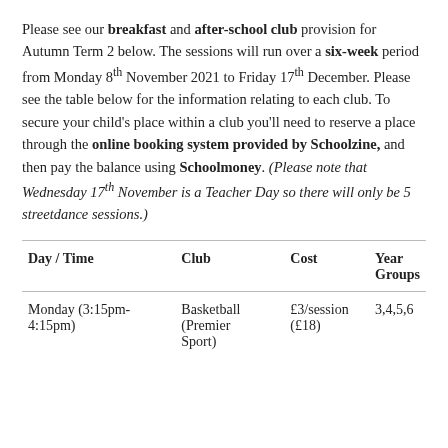Please see our breakfast and after-school club provision for Autumn Term 2 below. The sessions will run over a six-week period from Monday 8th November 2021 to Friday 17th December. Please see the table below for the information relating to each club. To secure your child's place within a club you'll need to reserve a place through the online booking system provided by Schoolzine, and then pay the balance using Schoolmoney. (Please note that Wednesday 17th November is a Teacher Day so there will only be 5 streetdance sessions.)
| Day / Time | Club | Cost | Year Groups |
| --- | --- | --- | --- |
| Monday (3:15pm-4:15pm) | Basketball (Premier Sport) | £3/session (£18) | 3,4,5,6 |